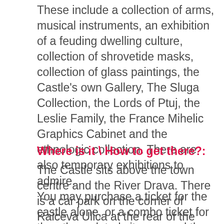These include a collection of arms, musical instruments, an exhibition of a feuding dwelling culture, collection of shrovetide masks, collection of glass paintings, the Castle's own Gallery, The Sluga Collection, the Lords of Ptuj, the Leslie Family, the France Mihelic Graphics Cabinet and the ethnologic collection. There are also temporary exhibitions to admire.
You may purchase a ticket for the castle alone, or a combo ticket for the other related sites around the town.
Where is it \ How to get there?:
The Castle sits above the town centre and the River Drava. There is a car park on the corner of Raiceva Ulica at the rear of the castle and also a road a little further along that takes you up to the summit (Na Gradu off Raiceva Ulica). Of course you can also walk up the path through Grajska Ulica and Drav...